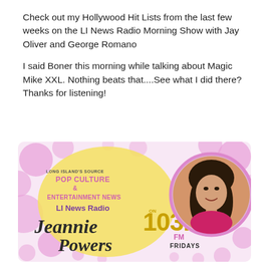Check out my Hollywood Hit Lists from the last few weeks on the LI News Radio Morning Show with Jay Oliver and George Romano
I said Boner this morning while talking about Magic Mike XXL. Nothing beats that....See what I did there? Thanks for listening!
[Figure (illustration): LI News Radio promotional banner for Jeannie Powers on 103.9 FM Fridays. Pink bubble background, yellow circle with text 'Long Island's Source Pop Culture & Entertainment News LI News Radio', script text 'Jeannie Powers', '103.9 FM Fridays', and a circular photo of Jeannie Powers on the right.]